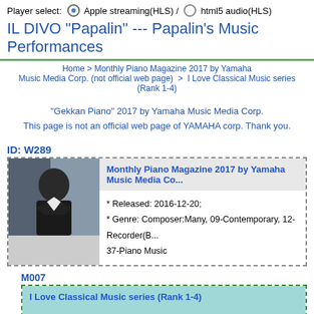Player select: ● Apple streaming(HLS) / ○ html5 audio(HLS)
IL DIVO "Papalin" --- Papalin's Music Performances
Home > Monthly Piano Magazine 2017 by Yamaha Music Media Corp. (not official web page) > I Love Classical Music series (Rank 1-4)
"Gekkan Piano" 2017 by Yamaha Music Media Corp.
This page is not an official web page of YAMAHA corp. Thank you.
ID: W289
Monthly Piano Magazine 2017 by Yamaha Music Media Co...
* Released: 2016-12-20;
* Genre: Composer:Many, 09-Contemporary, 12-Recorder(B... 37-Piano Music
M007
I Love Classical Music series (Rank 1-4)
* Play: high / normal / low ; * Time: 23:43; * Released: 2017-1...